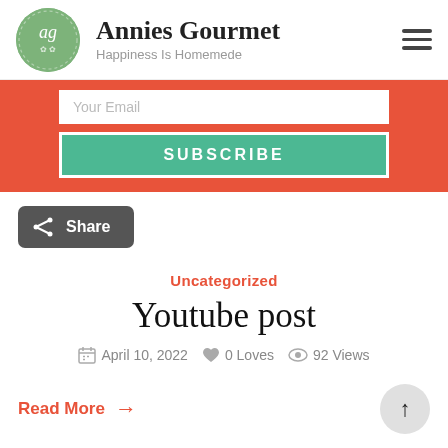Annies Gourmet — Happiness Is Homemede
[Figure (screenshot): Website screenshot with logo (green circle with 'ag'), site title 'Annies Gourmet', tagline 'Happiness Is Homemede', hamburger menu icon, red subscribe bar with email input and SUBSCRIBE button, Share button, blog post card with category 'Uncategorized', title 'Youtube post', date 'April 10, 2022', '0 Loves', '92 Views', and 'Read More' link with right arrow.]